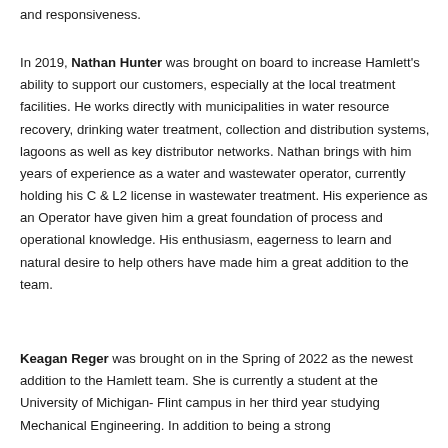and responsiveness.
In 2019, Nathan Hunter was brought on board to increase Hamlett's ability to support our customers, especially at the local treatment facilities. He works directly with municipalities in water resource recovery, drinking water treatment, collection and distribution systems, lagoons as well as key distributor networks. Nathan brings with him years of experience as a water and wastewater operator, currently holding his C & L2 license in wastewater treatment. His experience as an Operator have given him a great foundation of process and operational knowledge. His enthusiasm, eagerness to learn and natural desire to help others have made him a great addition to the team.
Keagan Reger was brought on in the Spring of 2022 as the newest addition to the Hamlett team. She is currently a student at the University of Michigan- Flint campus in her third year studying Mechanical Engineering. In addition to being a strong